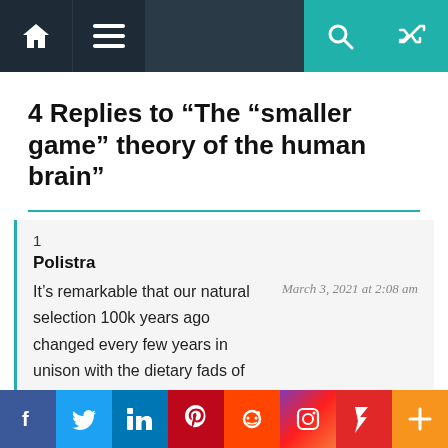Navigation bar with home, menu, search, and random icons
4 Replies to “The “smaller game” theory of the human brain”
1
Polistra
March 3, 2021 at 2:08 am
It’s remarkable that our natural selection 100k years ago changed every few years in unison with the dietary fads of 20th century science. When fat was taboo, our brain adapted to get more kale and avocado toast. When fat was mandatory, our brain adapted to get more fat. This tightly
Social sharing bar: Facebook, Twitter, LinkedIn, Pinterest, Reddit, Instagram, Flipboard, Plus